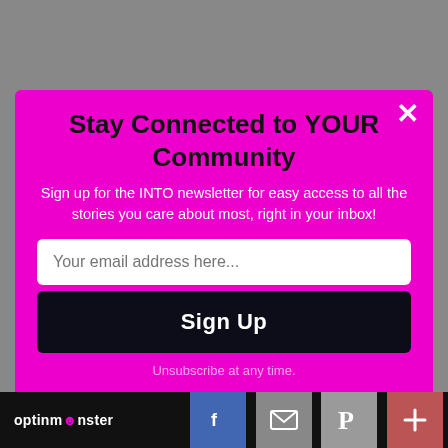Stay Connected to YOUR Community
Sign up for the INTO newsletter for easy access to all the stories you care about most, right in your inbox!
Your email address here...
Sign Up
Unsubscribe at any time.
[Figure (logo): OptinMonster logo with monster icon in magenta/pink color]
[Figure (screenshot): Social share bar with Facebook, email, Pinterest, and plus icons]